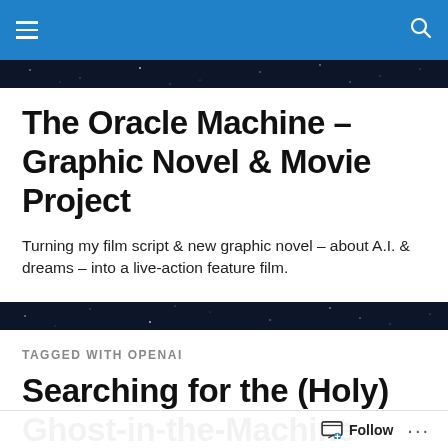The Oracle Machine – Graphic Novel & Movie Project
Turning my film script & new graphic novel – about A.I. & dreams – into a live-action feature film.
TAGGED WITH OPENAI
Searching for the (Holy) Ghost-in-the-Machine – How 'The Oracle Machine Story
Follow